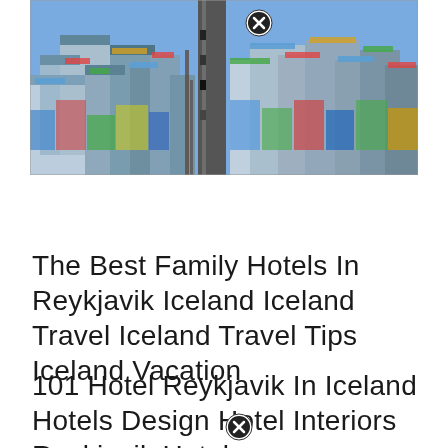[Figure (photo): Aerial view of Reykjavik Iceland showing colorful rooftops, streets and buildings from above]
The Best Family Hotels In Reykjavik Iceland Iceland Travel Iceland Travel Tips Iceland Vacation
101 Hotel Reykjavik In Iceland Hotels Design Hotel Interiors Reykjavik Hotel